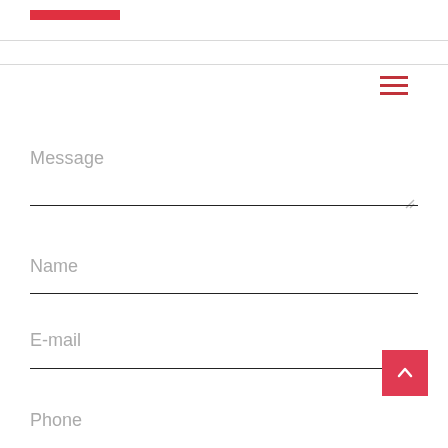[Figure (other): Red horizontal bar accent at top left of page header area]
[Figure (other): Hamburger menu icon (three horizontal red lines) in the upper right area]
Message
Name
E-mail
Phone
[Figure (other): Scroll-to-top button (pink/red square with upward chevron arrow) at lower right]